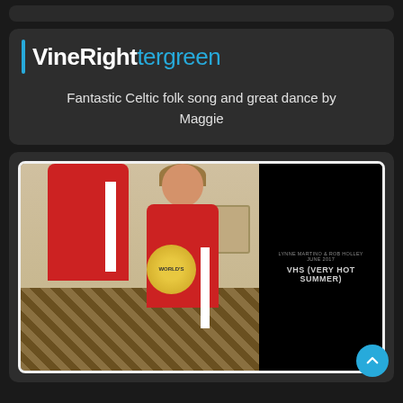VineRight / Wintergreen
Fantastic Celtic folk song and great dance by Maggie
[Figure (photo): Two people wearing red jackets holding a World's trophy award; beside it a dark video thumbnail with text 'LYNNE MARTINO & ROB HOLLEY JUNE 2017 VHS (VERY HOT SUMMER)']